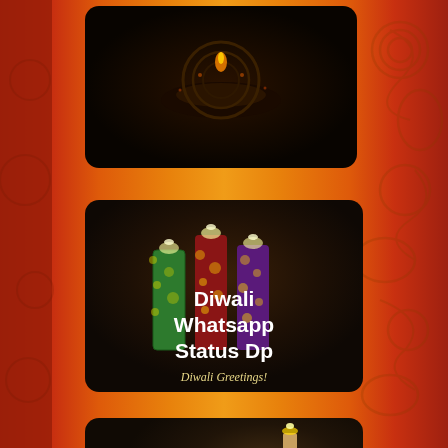[Figure (illustration): Diwali-themed decorative page with orange gradient background featuring swirl/paisley patterns. Contains three image cards: top card shows a dark Diwali lamp (diya) on black background, middle card shows colorful Diwali crackers/candles with text 'Diwali Whatsapp Status Dp' and 'Diwali Greetings!' subtitle, bottom card shows candles/diyas with text 'Diwali Quotes'.]
Diwali Whatsapp Status Dp
Diwali Greetings!
Diwali Quotes